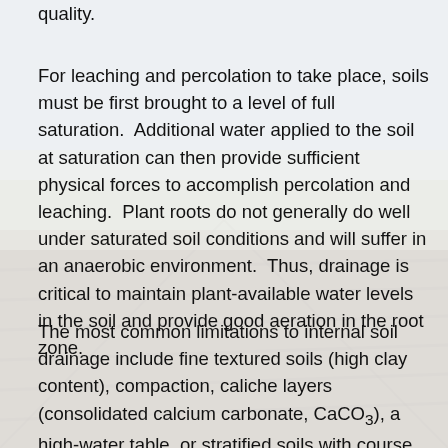quality.
For leaching and percolation to take place, soils must be first brought to a level of full saturation.  Additional water applied to the soil at saturation can then provide sufficient physical forces to accomplish percolation and leaching.  Plant roots do not generally do well under saturated soil conditions and will suffer in an anaerobic environment.  Thus, drainage is critical to maintain plant-available water levels in the soil and provide good aeration in the root zone.
The most common limitations to internal soil drainage include fine textured soils (high clay content), compaction, caliche layers (consolidated calcium carbonate, CaCO3), a high-water table, or stratified soils with course textured layers (horizons) beneath finer textured layers.  In the alluvial soils commonly associated with crop production areas of Arizona and the desert Southwest it is not